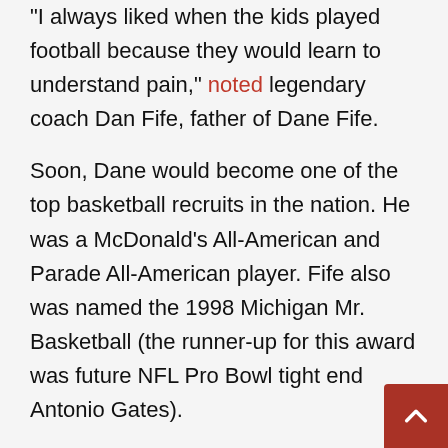“I always liked when the kids played football because they would learn to understand pain,” noted legendary coach Dan Fife, father of Dane Fife.
Soon, Dane would become one of the top basketball recruits in the nation. He was a McDonald’s All-American and Parade All-American player. Fife also was named the 1998 Michigan Mr. Basketball (the runner-up for this award was future NFL Pro Bowl tight end Antonio Gates).
For Fife, becoming a Hoosier was always meant to be.
“My desire to go to Indiana was instilled when I was 6 years old. I watched Indiana and Michigan, 1985 for the Big Ten title. Bill Frieder since my dad a VHS tape. It was the first VHS tape I’ve ever watched. And I just became fascinated with how the announcers were talking about Indiana... Bobby Knight, Indiana’s offense, defense. And I